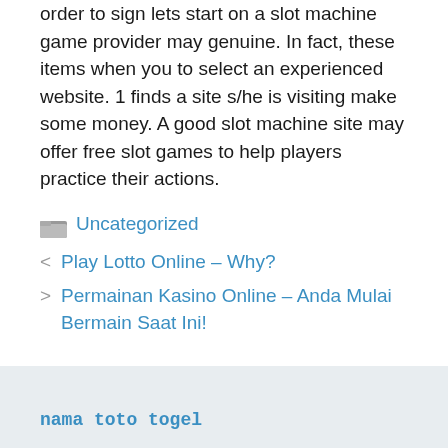order to sign lets start on a slot machine game provider may genuine. In fact, these items when you to select an experienced website. 1 finds a site s/he is visiting make some money. A good slot machine site may offer free slot games to help players practice their actions.
Uncategorized
< Play Lotto Online – Why?
> Permainan Kasino Online – Anda Mulai Bermain Saat Ini!
nama toto togel